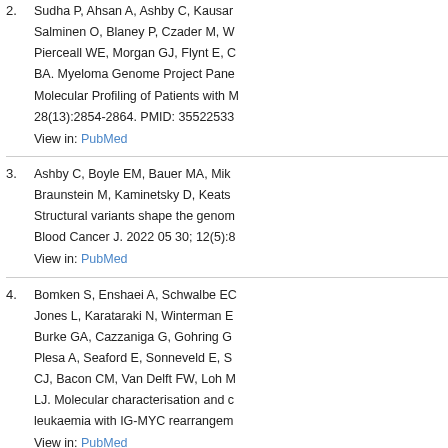2. Sudha P, Ahsan A, Ashby C, Kausar... Salminen O, Blaney P, Czader M, W... Pierceall WE, Morgan GJ, Flynt E, C... BA. Myeloma Genome Project Pane... Molecular Profiling of Patients with M... 28(13):2854-2864. PMID: 35522533... View in: PubMed
3. Ashby C, Boyle EM, Bauer MA, Mik... Braunstein M, Kaminetsky D, Keats... Structural variants shape the genom... Blood Cancer J. 2022 05 30; 12(5):8... View in: PubMed
4. Bomken S, Enshaei A, Schwalbe EC... Jones L, Karataraki N, Winterman E... Burke GA, Cazzaniga G, Gohring G... Plesa A, Seaford E, Sonneveld E, S... CJ, Bacon CM, Van Delft FW, Loh M... LJ. Molecular characterisation and c... leukaemia with IG-MYC rearrangem... View in: PubMed
5. Sabol HM, Amorim T, Ashby C, Halla... Kurihara N, Roodman GD, Bellido T... and osteocytes in the tumor niche p... 2022 06; 28:100785. PMID: 353907...